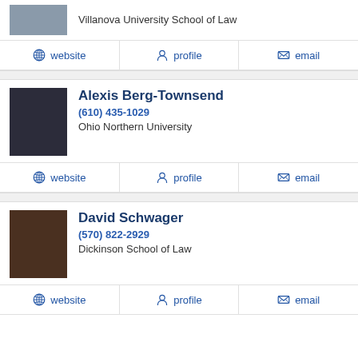Villanova University School of Law
website | profile | email
Alexis Berg-Townsend
(610) 435-1029
Ohio Northern University
website | profile | email
David Schwager
(570) 822-2929
Dickinson School of Law
website | profile | email